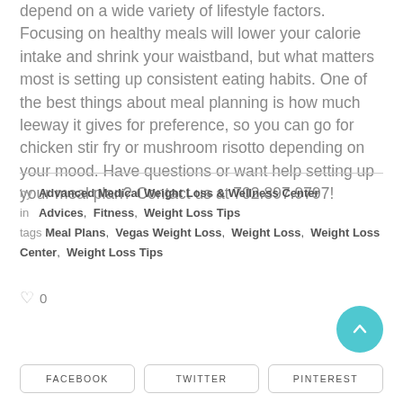depend on a wide variety of lifestyle factors. Focusing on healthy meals will lower your calorie intake and shrink your waistband, but what matters most is setting up consistent eating habits. One of the best things about meal planning is how much leeway it gives for preference, so you can go for chicken stir fry or mushroom risotto depending on your mood. Have questions or want help setting up your meal plan? Contact us at 702.897.9797!
by Advanced Medical Weight Loss & Wellness Center
in Advices, Fitness, Weight Loss Tips
tags Meal Plans, Vegas Weight Loss, Weight Loss, Weight Loss Center, Weight Loss Tips
0
FACEBOOK   TWITTER   PINTEREST